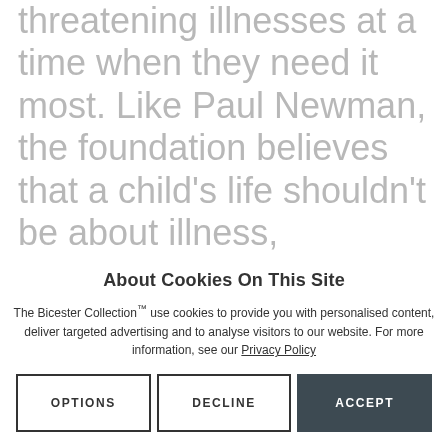threatening illnesses at a time when they need it most. Like Paul Newman, the foundation believes that a child's life shouldn't be about illness, hospitals and diagnosis – it should be about wonder, joy and hope.

Meanwhile, at the forefront of the development of new and better ways to treat childhood diseases, Great
About Cookies On This Site
The Bicester Collection™ use cookies to provide you with personalised content, deliver targeted advertising and to analyse visitors to our website. For more information, see our Privacy Policy
OPTIONS   DECLINE   ACCEPT